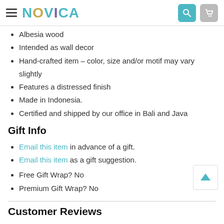NOVICA
Albesia wood
Intended as wall decor
Hand-crafted item – color, size and/or motif may vary slightly
Features a distressed finish
Made in Indonesia.
Certified and shipped by our office in Bali and Java
Gift Info
Email this item in advance of a gift.
Email this item as a gift suggestion.
Free Gift Wrap? No
Premium Gift Wrap? No
Customer Reviews